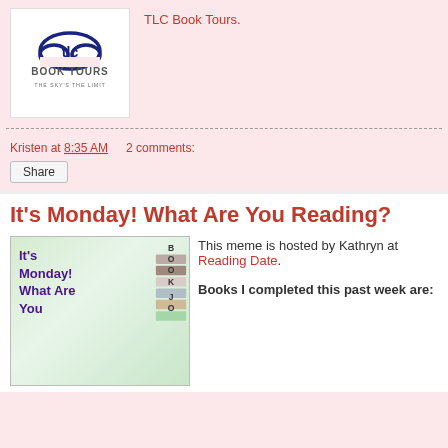[Figure (logo): TLC Book Tours logo — cloud with 'tlc' text, subtitle 'BOOK TOURS THE SKY'S THE LIMIT']
TLC Book Tours.
Kristen at 8:35 AM    2 comments:
Share
It's Monday! What Are You Reading?
[Figure (illustration): It's Monday! What Are You Reading? meme image with stacked books and text]
This meme is hosted by Kathryn at Reading Date. Books I completed this past week are: